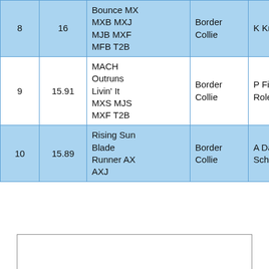|  |  | Dog Name / Titles | Breed | Owner |
| --- | --- | --- | --- | --- |
| 8 | 16 | Bounce MX MXB MXJ MJB MXF MFB T2B | Border Collie | K Knapp |
| 9 | 15.91 | MACH Outruns Livin' It MXS MJS MXF T2B | Border Collie | P Fish/S Rolek/J Love |
| 10 | 15.89 | Rising Sun Blade Runner AX AXJ | Border Collie | A Dawes/M Schwartzballer |